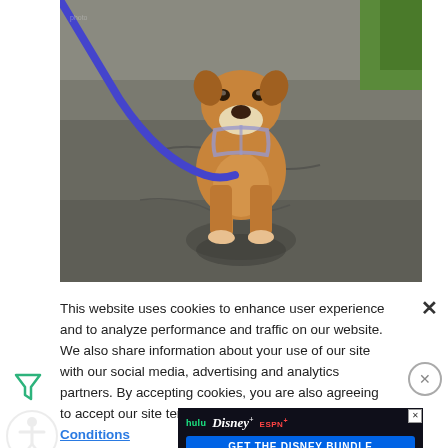[Figure (photo): A dog on a leash walking toward the camera on a paved asphalt surface. The blue leash extends diagonally across the frame. Green grass is visible in the background.]
This website uses cookies to enhance user experience and to analyze performance and traffic on our website. We also share information about your use of our site with our social media, advertising and analytics partners. By accepting cookies, you are also agreeing to accept our site terms and conditions. Terms & Conditions
[Figure (screenshot): Advertisement for the Disney Bundle: hulu, Disney+, ESPN+. Call to action: GET THE DISNEY BUNDLE. Fine print: Incl. Hulu (ad-supported) or Hulu (No Ads). Access content from each service separately. ©2021 Disney and its related entities]